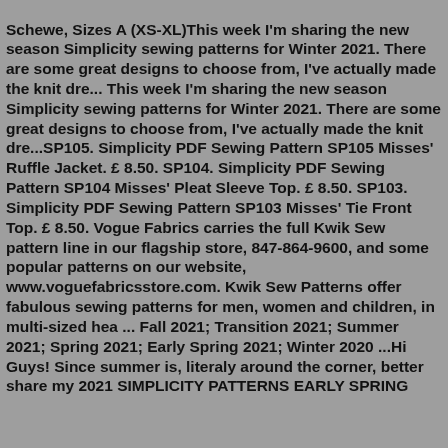Schewe, Sizes A (XS-XL)This week I'm sharing the new season Simplicity sewing patterns for Winter 2021. There are some great designs to choose from, I've actually made the knit dre... This week I'm sharing the new season Simplicity sewing patterns for Winter 2021. There are some great designs to choose from, I've actually made the knit dre...SP105. Simplicity PDF Sewing Pattern SP105 Misses' Ruffle Jacket. £ 8.50. SP104. Simplicity PDF Sewing Pattern SP104 Misses' Pleat Sleeve Top. £ 8.50. SP103. Simplicity PDF Sewing Pattern SP103 Misses' Tie Front Top. £ 8.50. Vogue Fabrics carries the full Kwik Sew pattern line in our flagship store, 847-864-9600, and some popular patterns on our website, www.voguefabricsstore.com. Kwik Sew Patterns offer fabulous sewing patterns for men, women and children, in multi-sized hea ... Fall 2021; Transition 2021; Summer 2021; Spring 2021; Early Spring 2021; Winter 2020 ...Hi Guys! Since summer is, literaly around the corner, better share my 2021 SIMPLICITY PATTERNS EARLY SPRING